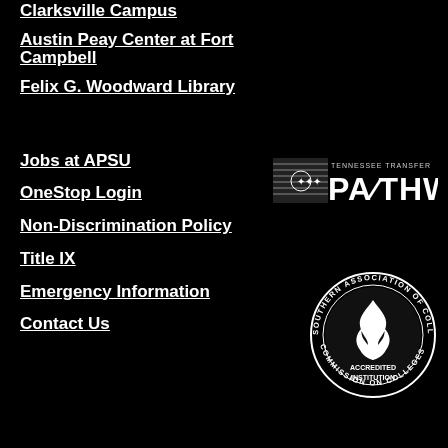Clarksville Campus
Austin Peay Center at Fort Campbell
Felix G. Woodward Library
[Figure (logo): Tennessee Transfer Pathway logo with state flag motif and text PATHWAY]
Jobs at APSU
OneStop Login
Non-Discrimination Policy
[Figure (logo): Southern Association of Colleges and Schools Commission on Colleges Accredited Institution seal]
Title IX
Emergency Information
Contact Us